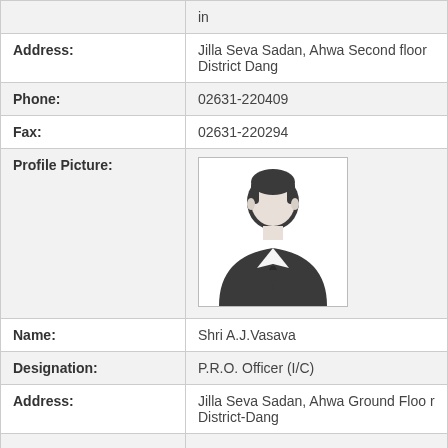|  | in |
| Address: | Jilla Seva Sadan, Ahwa Second floor District Dang |
| Phone: | 02631-220409 |
| Fax: | 02631-220294 |
| Profile Picture: | [profile photo] |
| Name: | Shri A.J.Vasava |
| Designation: | P.R.O. Officer (I/C) |
| Address: | Jilla Seva Sadan, Ahwa Ground Floor District-Dang |
|  |  |